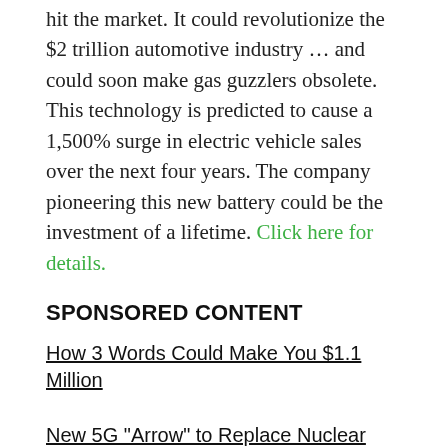hit the market. It could revolutionize the $2 trillion automotive industry … and could soon make gas guzzlers obsolete. This technology is predicted to cause a 1,500% surge in electric vehicle sales over the next four years. The company pioneering this new battery could be the investment of a lifetime. Click here for details.
SPONSORED CONTENT
How 3 Words Could Make You $1.1 Million
New 5G "Arrow" to Replace Nuclear Missiles
Internet service disruption scheduled for December 21st?